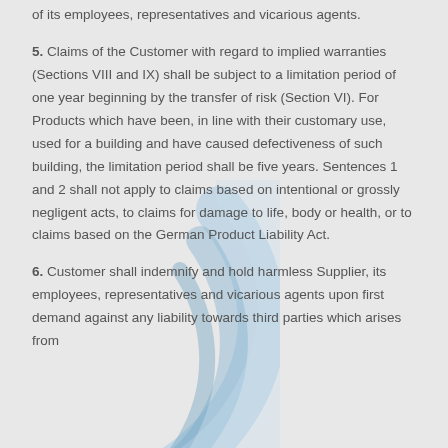of its employees, representatives and vicarious agents.
5. Claims of the Customer with regard to implied warranties (Sections VIII and IX) shall be subject to a limitation period of one year beginning by the transfer of risk (Section VI). For Products which have been, in line with their customary use, used for a building and have caused defectiveness of such building, the limitation period shall be five years. Sentences 1 and 2 shall not apply to claims based on intentional or grossly negligent acts, to claims for damage to life, body or health, or to claims based on the German Product Liability Act.
6. Customer shall indemnify and hold harmless Supplier, its employees, representatives and vicarious agents upon first demand against any liability towards third parties which arises from